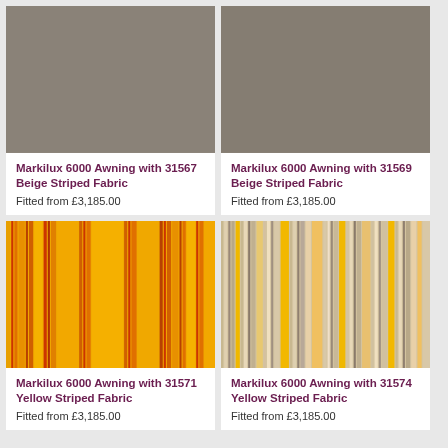[Figure (photo): Gray/taupe solid fabric swatch for Markilux 6000 awning]
Markilux 6000 Awning with 31567 Beige Striped Fabric
Fitted from £3,185.00
[Figure (photo): Gray/taupe solid fabric swatch for Markilux 6000 awning]
Markilux 6000 Awning with 31569 Beige Striped Fabric
Fitted from £3,185.00
[Figure (photo): Yellow and orange vertical striped fabric swatch]
Markilux 6000 Awning with 31571 Yellow Striped Fabric
Fitted from £3,185.00
[Figure (photo): Yellow, beige and gray vertical striped fabric swatch]
Markilux 6000 Awning with 31574 Yellow Striped Fabric
Fitted from £3,185.00